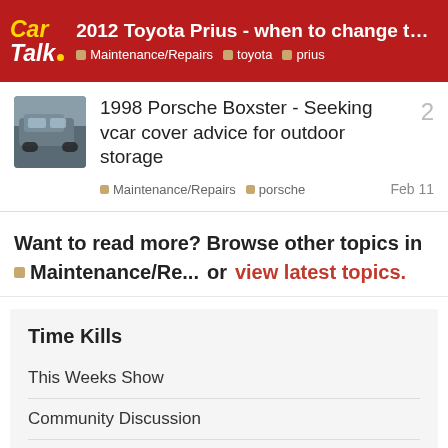2012 Toyota Prius - when to change the ba... | Maintenance/Repairs | toyota | prius
1998 Porsche Boxster - Seeking vcar cover advice for outdoor storage
Maintenance/Repairs  porsche  Feb 11
Want to read more? Browse other topics in Maintenance/Re... or view latest topics.
Time Kills
This Weeks Show
Community Discussion
Cars A-Z
Bad Car Jokes